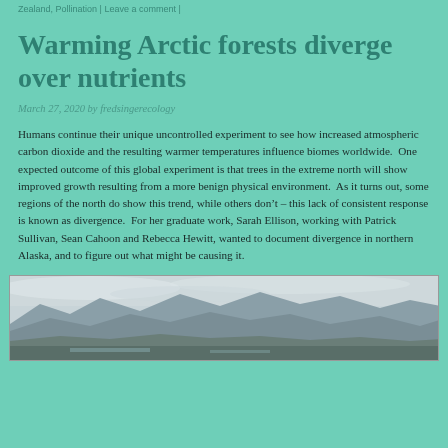Zealand, Pollination | Leave a comment |
Warming Arctic forests diverge over nutrients
March 27, 2020 by fredsingerecology
Humans continue their unique uncontrolled experiment to see how increased atmospheric carbon dioxide and the resulting warmer temperatures influence biomes worldwide.  One expected outcome of this global experiment is that trees in the extreme north will show improved growth resulting from a more benign physical environment.  As it turns out, some regions of the north do show this trend, while others don’t – this lack of consistent response is known as divergence.  For her graduate work, Sarah Ellison, working with Patrick Sullivan, Sean Cahoon and Rebecca Hewitt, wanted to document divergence in northern Alaska, and to figure out what might be causing it.
[Figure (photo): A landscape photo showing mountains in the background with a flat terrain in the foreground under a cloudy sky, appearing to be a northern Alaska or Arctic scene.]